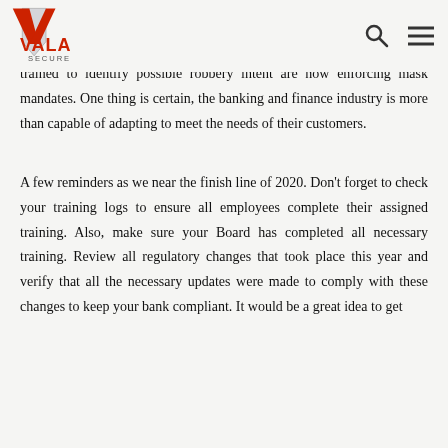Vala Secure logo with search and menu icons
community banking. I never thought the banking industry would change, much less requiring customers to wear a mask to walk through their doors! Employees who are trained to identify possible robbery intent are now enforcing mask mandates. One thing is certain, the banking and finance industry is more than capable of adapting to meet the needs of their customers.
A few reminders as we near the finish line of 2020. Don't forget to check your training logs to ensure all employees complete their assigned training. Also, make sure your Board has completed all necessary training. Review all regulatory changes that took place this year and verify that all the necessary updates were made to comply with these changes to keep your bank compliant. It would be a great idea to get